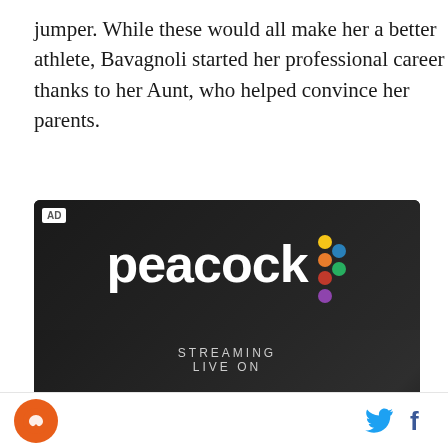jumper. While these would all make her a better athlete, Bavagnoli started her professional career thanks to her Aunt, who helped convince her parents.
[Figure (screenshot): Peacock streaming service advertisement. Top half shows 'peacock' logo in white text with colorful dots (yellow, orange, red/pink, purple, blue, green) on dark background. Bottom half shows 'STREAMING LIVE ON' text above 'peacock' logo with a play button triangle replacing the 'c', same colorful dots. Partially visible text at bottom reads 'Limited Time Offer $1.99/...' with an AD label in top-left corner.]
Twitter and Facebook social icons